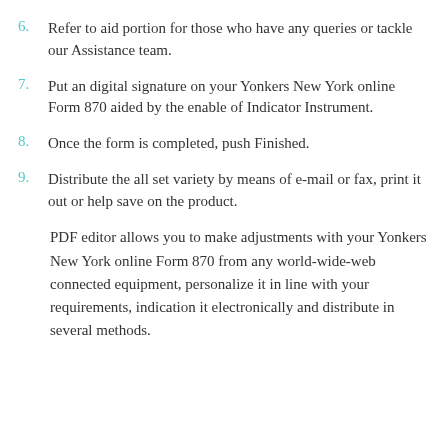6. Refer to aid portion for those who have any queries or tackle our Assistance team.
7. Put an digital signature on your Yonkers New York online Form 870 aided by the enable of Indicator Instrument.
8. Once the form is completed, push Finished.
9. Distribute the all set variety by means of e-mail or fax, print it out or help save on the product.
PDF editor allows you to make adjustments with your Yonkers New York online Form 870 from any world-wide-web connected equipment, personalize it in line with your requirements, indication it electronically and distribute in several methods.